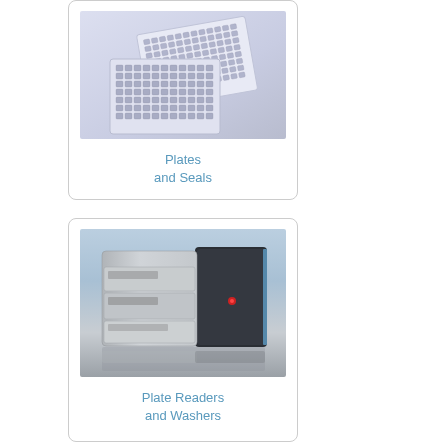[Figure (photo): Photo of laboratory microplates and plate seals on a light blue/purple background]
Plates
and Seals
[Figure (photo): Photo of plate reader and washer instruments — silver and dark grey modular laboratory devices]
Plate Readers
and Washers